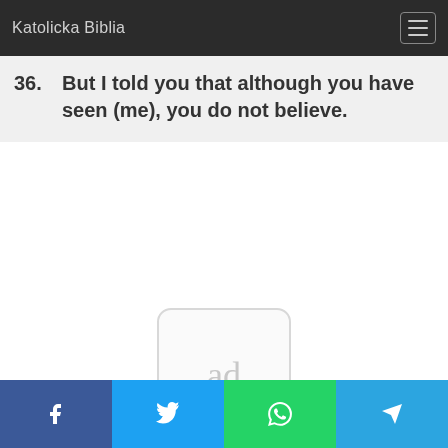Katolicka Biblia
36. But I told you that although you have seen (me), you do not believe.
[Figure (other): Advertisement placeholder box showing 'ad' text]
Social share buttons: Facebook, Twitter, WhatsApp, Telegram